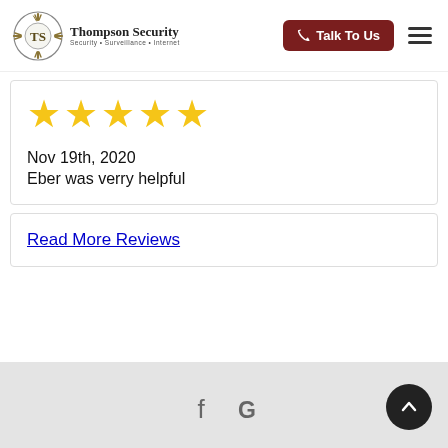[Figure (logo): Thompson Security logo with compass rose emblem and text 'Thompson Security – Security • Surveillance • Internet']
[Figure (infographic): 5 gold star rating display]
Nov 19th, 2020
Eber was verry helpful
Read More Reviews
[Figure (infographic): Footer with Facebook and Google icons, and back-to-top button]